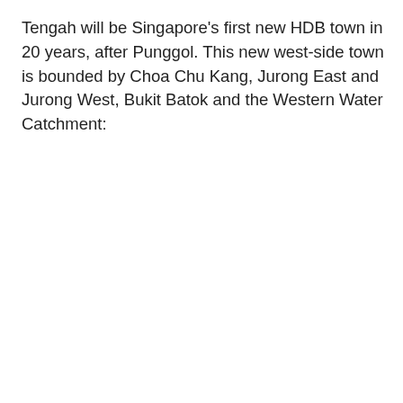Tengah will be Singapore's first new HDB town in 20 years, after Punggol. This new west-side town is bounded by Choa Chu Kang, Jurong East and Jurong West, Bukit Batok and the Western Water Catchment: